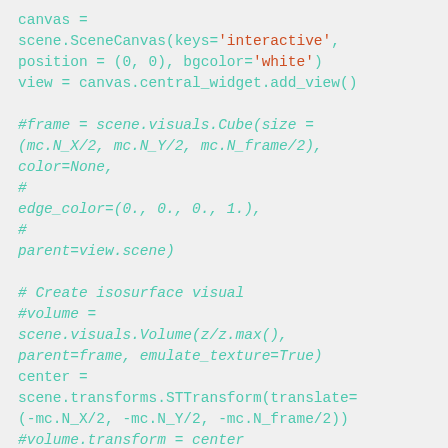canvas = scene.SceneCanvas(keys='interactive', position = (0, 0), bgcolor='white')
view = canvas.central_widget.add_view()

#frame = scene.visuals.Cube(size = (mc.N_X/2, mc.N_Y/2, mc.N_frame/2), color=None,
# edge_color=(0., 0., 0., 1.),
# parent=view.scene)

# Create isosurface visual
#volume = scene.visuals.Volume(z/z.max(), parent=frame, emulate_texture=True)
center = scene.transforms.STTransform(translate=(-mc.N_X/2, -mc.N_Y/2, -mc.N_frame/2))
#volume.transform = center
#volume.cmap = 'blues'